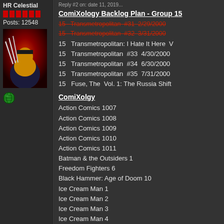HR Celestial
Posts: 12548
[Figure (illustration): Wolverine comic art with claws extended on red/dark background]
[Figure (illustration): Small green globe icon]
ComiXology Backlog Plan - Group 15
15  Transmetropolitan  #31  2/29/2000 (strikethrough)
15  Transmetropolitan  #32  3/31/2000 (strikethrough)
15  Transmetropolitan: I Hate It Here  V
15  Transmetropolitan  #33  4/30/2000
15  Transmetropolitan  #34  6/30/2000
15  Transmetropolitan  #35  7/31/2000
15  Fuse, The  Vol. 1: The Russia Shift
ComiXolgy
Action Comics 1007
Action Comics 1008
Action Comics 1009
Action Comics 1010
Action Comics 1011
Batman & the Outsiders 1
Freedom Fighters 6
Black Hammer: Age of Doom 10
Ice Cream Man 1
Ice Cream Man 2
Ice Cream Man 3
Ice Cream Man 4
Marvel Unlimited
Return of Wolverine 1 (strikethrough)
Return of Wolverine 2 (strikethrough, partial)